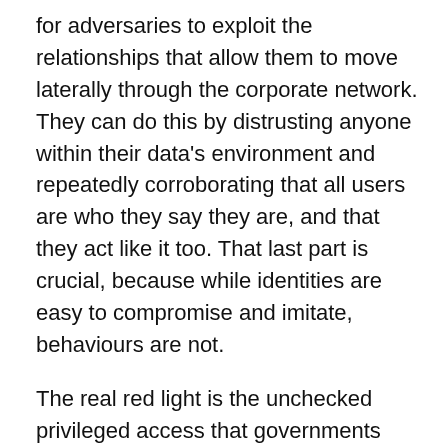for adversaries to exploit the relationships that allow them to move laterally through the corporate network. They can do this by distrusting anyone within their data's environment and repeatedly corroborating that all users are who they say they are, and that they act like it too. That last part is crucial, because while identities are easy to compromise and imitate, behaviours are not.
The real red light is the unchecked privileged access that governments and companies grant their supply-chain partners via passwords. Think of this as an identity badge that lets third parties enter a company's building, except the building is the corporate system. In the past year, in nearly 99 per cent of the cloud networks that my team were hired to hack, password attacks got us initial access.
Why not double down on hardening these systems and